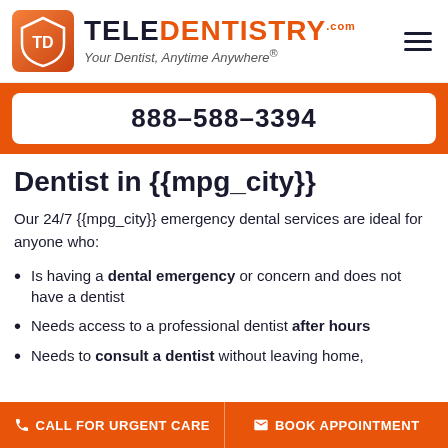[Figure (logo): TeleDentistry logo with shield icon containing TD initials, orange gradient background. Text reads TELEDENTISTRY.com with tagline 'Your Dentist, Anytime Anywhere®']
888-588-3394
Dentist in {{mpg_city}}
Our 24/7 {{mpg_city}} emergency dental services are ideal for anyone who:
Is having a dental emergency or concern and does not have a dentist
Needs access to a professional dentist after hours
Needs to consult a dentist without leaving home,
CALL FOR URGENT CARE
BOOK APPOINTMENT